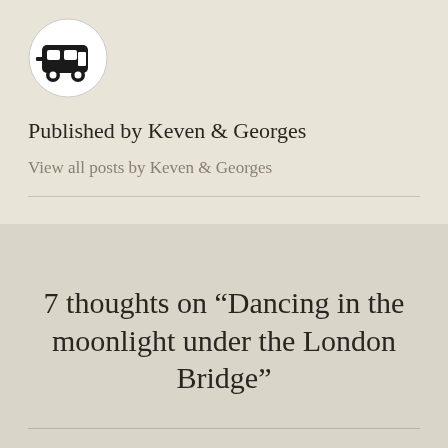[Figure (logo): Circular avatar icon with a white background and a black caravan/camper trailer icon in the center]
Published by Keven & Georges
View all posts by Keven & Georges
7 thoughts on “Dancing in the moonlight under the London Bridge”